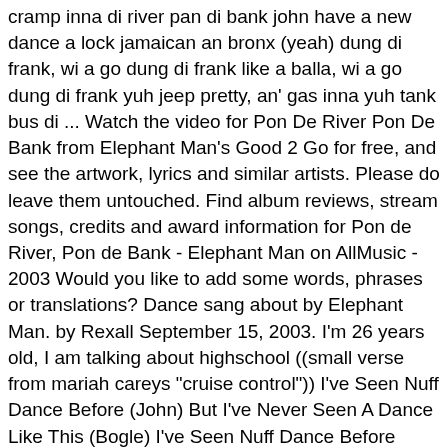cramp inna di river pan di bank john have a new dance a lock jamaican an bronx (yeah) dung di frank, wi a go dung di frank like a balla, wi a go dung di frank yuh jeep pretty, an' gas inna yuh tank bus di ... Watch the video for Pon De River Pon De Bank from Elephant Man's Good 2 Go for free, and see the artwork, lyrics and similar artists. Please do leave them untouched. Find album reviews, stream songs, credits and award information for Pon de River, Pon de Bank - Elephant Man on AllMusic - 2003 Would you like to add some words, phrases or translations? Dance sang about by Elephant Man. by Rexall September 15, 2003. I'm 26 years old, I am talking about highschool ((small verse from mariah careys "cruise control")) I've Seen Nuff Dance Before (John) But I've Never Seen A Dance Like This (Bogle) I've Seen Nuff Dance Before (Keeva And Stacy) But A Dah One Yah Come Top Di Lis [Verse 1] A'right Real Badman Nuh Wear People Pants We Tek Dancing To A Higher Rank We Spen' Pound,An Wi Spen Frank John Have A New Dance A Lock Jamaican An' BronX Pon Di River Pon Di Bank Kick Out Yuh Shoes Because Yuh Foot ... Is a 27 yr old unmarried woman considered a spinster? Do you support the